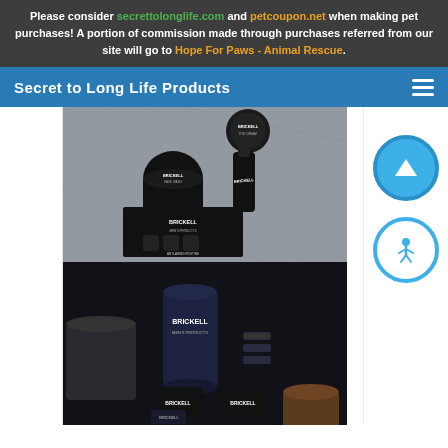Please consider secrettolonglife.com and petcoupon.net when making pet purchases! A portion of commission made through purchases referred from our site will go to Hope For Paws - Animal Rescue.
Secret to Long Life Products
[Figure (photo): Brickell men's skincare products laid out on a grey textured fabric surface, showing small black jars, a bottle, and product packaging box]
[Figure (photo): Brickell men's products group shot with dark background showing tall cylindrical container and various smaller product bottles with Brickell branding]